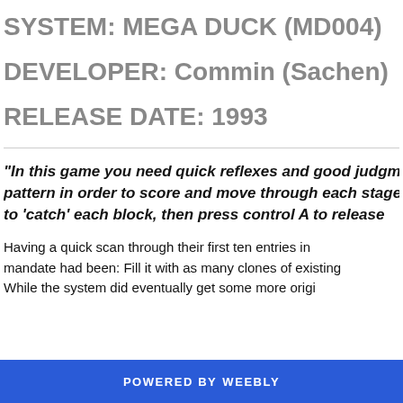SYSTEM: MEGA DUCK (MD004)
DEVELOPER: Commin (Sachen)
RELEASE DATE: 1993
"In this game you need quick reflexes and good judgment to discern the pattern in order to score and move through each stage. Use control pad to 'catch' each block, then press control A to release..."
Having a quick scan through their first ten entries in the library, it seems their mandate had been: Fill it with as many clones of existing popular games as possible. While the system did eventually get some more original titles...
POWERED BY weebly